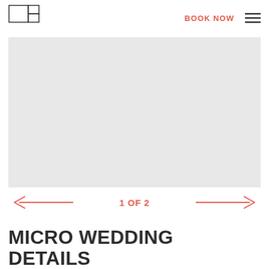BOOK NOW
[Figure (photo): Large placeholder image area with light gray background, serving as a photo carousel slide]
1 OF 2
MICRO WEDDING DETAILS